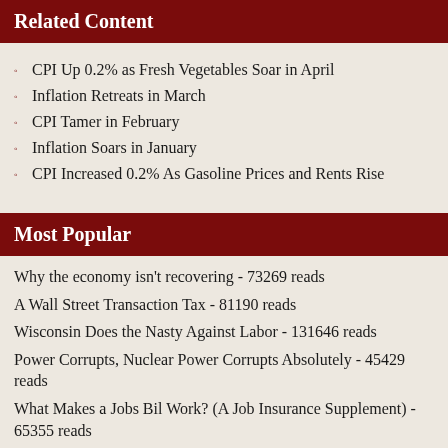Related Content
CPI Up 0.2% as Fresh Vegetables Soar in April
Inflation Retreats in March
CPI Tamer in February
Inflation Soars in January
CPI Increased 0.2% As Gasoline Prices and Rents Rise
Most Popular
Why the economy isn't recovering - 73269 reads
A Wall Street Transaction Tax - 81190 reads
Wisconsin Does the Nasty Against Labor - 131646 reads
Power Corrupts, Nuclear Power Corrupts Absolutely - 45429 reads
What Makes a Jobs Bil Work? (A Job Insurance Supplement) - 65355 reads
Welcome to "Economic Purgatory" - 38106 reads
Obama's CIO Vivek Kundra Previous Close Employees Arrested for Fraud, Bribery - 113147 reads